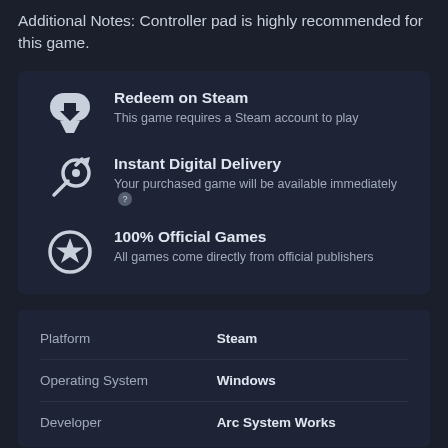Additional Notes: Controller pad is highly recommended for this game.
Redeem on Steam
This game requires a Steam account to play
Instant Digital Delivery
Your purchased game will be available immediately
100% Official Games
All games come directly from official publishers
|  |  |
| --- | --- |
| Platform | Steam |
| Operating System | Windows |
| Developer | Arc System Works |